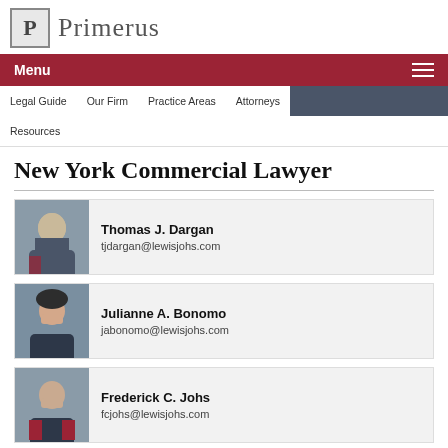Primerus
Menu
Legal Guide  Our Firm  Practice Areas  Attorneys  Resources
New York Commercial Lawyer
Thomas J. Dargan
tjdargan@lewisjohs.com
Julianne A. Bonomo
jabonomo@lewisjohs.com
Frederick C. Johs
fcjohs@lewisjohs.com